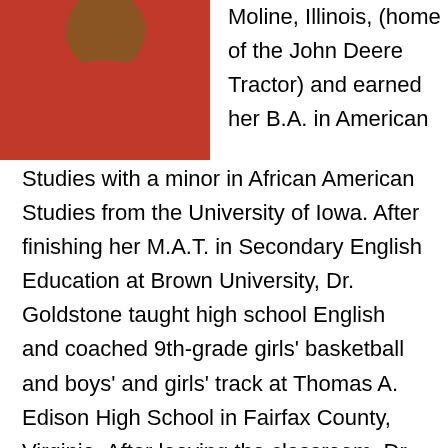[Figure (photo): Headshot of Dr. Goldstone wearing a red polo shirt, against a dark background.]
Dr. Goldstone grew up in Moline, Illinois, (home of the John Deere Tractor) and earned her B.A. in American Studies with a minor in African American Studies from the University of Iowa. After finishing her M.A.T. in Secondary English Education at Brown University, Dr. Goldstone taught high school English and coached 9th-grade girls' basketball and boys' and girls' track at Thomas A. Edison High School in Fairfax County, Virginia. After leaving the classroom, Dr. Goldstone went to the University of Texas at Austin, where she earned her PhD in American Civilization. Her book—Integrating the 40 Acres: The Fifty-Year Struggle for Racial Equality at the University of Texas at Austin, won the Coral H. Tulis Memorial Prize for the best book on Texas history. Dr.